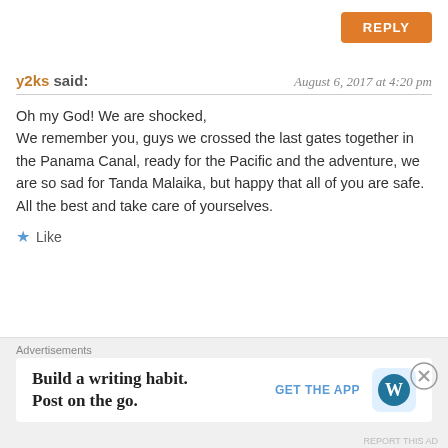REPLY
y2ks said: August 6, 2017 at 4:20 pm
Oh my God! We are shocked,
We remember you, guys we crossed the last gates together in the Panama Canal, ready for the Pacific and the adventure, we are so sad for Tanda Malaika, but happy that all of you are safe. All the best and take care of yourselves.
★ Like
REPLY
belindagovatos responded: August 8, 2017 at 7:04 pm
Hey there our sweet friends, we have been in living in shock too. It's been a crazy wild ride! Safe sailing, and hopefully we'll see you on the ocean again.
Advertisements
Build a writing habit.
Post on the go.
GET THE APP